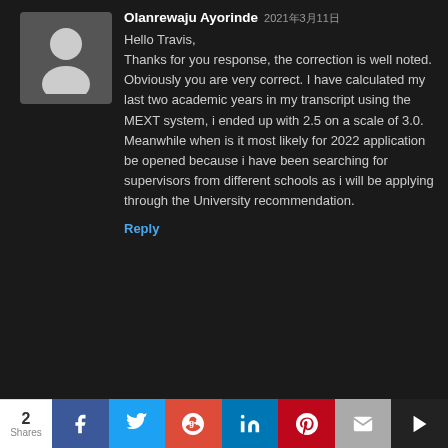[Figure (illustration): Grey placeholder avatar with person silhouette icon on dark background]
Olanrewaju Ayorinde 2021年3月11日
Hello Travis,
Thanks for you response, the correction is well noted. Obviously you are very correct. I have calculated my last two academic years in my transcript using the MEXT system, i ended up with 2.5 on a scale of 3.0. Meanwhile when is it most likely for 2022 application be opened because i have been searching for supervisors from different schools as i will be applying through the University recommendation.
Reply